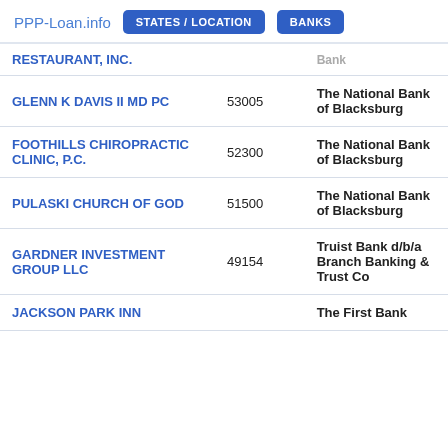PPP-Loan.info  STATES / LOCATION  BANKS
| Business Name | Amount | Bank |
| --- | --- | --- |
| RESTAURANT, INC. | Bank |
| GLENN K DAVIS II MD PC | 53005 | The National Bank of Blacksburg |
| FOOTHILLS CHIROPRACTIC CLINIC, P.C. | 52300 | The National Bank of Blacksburg |
| PULASKI CHURCH OF GOD | 51500 | The National Bank of Blacksburg |
| GARDNER INVESTMENT GROUP LLC | 49154 | Truist Bank d/b/a Branch Banking & Trust Co |
| JACKSON PARK INN |  | The First Bank |